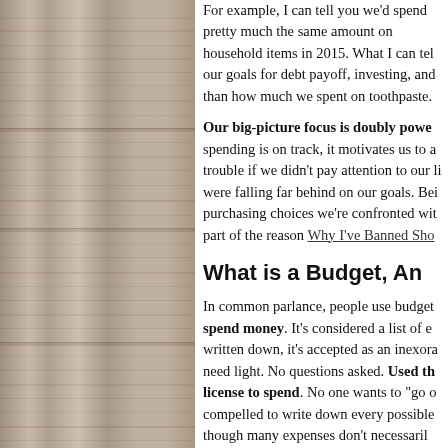[Figure (photo): Photograph of weathered wood grain panels stacked horizontally, in muted gray-brown tones]
For example, I can tell you we'd spend pretty much the same amount on household items in 2015. What I can tell you is we're on track or ahead of our goals for debt payoff, investing, and savings — and that matters more than how much we spent on toothpaste.
Our big-picture focus is doubly powerful. When we know our spending is on track, it motivates us to achieve more. We'd get in trouble if we didn't pay attention to our line items at all and were falling far behind on our goals. Being big-picture aware of our purchasing choices we're confronted with every day is part of the reason Why I've Banned Shopping as a Hobby.
What is a Budget, An...
In common parlance, people use budgets to plan how to spend money. It's considered a list of expenses, and once written down, it's accepted as an inexorable truth, like plants need light. No questions asked. Used this way, a budget is a license to spend. No one wants to "go over budget" so people are compelled to write down every possible expense, even though many expenses don't necessarily need to be there, like clothing. Over-estimating is also tempting...